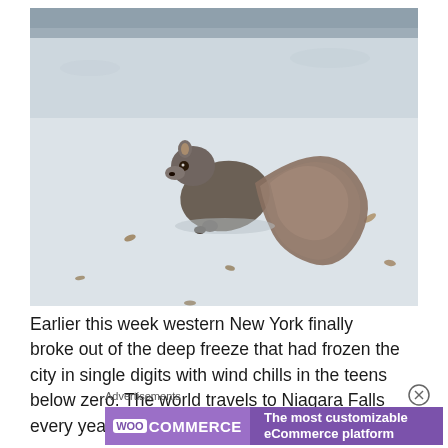[Figure (photo): A gray squirrel sitting on snow-covered ground, facing left, with its fluffy tail curled behind it. Background shows snow with a few scattered dead leaves.]
Earlier this week western New York finally broke out of the deep freeze that had frozen the city in single digits with wind chills in the teens below zero. The world travels to Niagara Falls every year to see the majestic Falls, but
Advertisements
[Figure (other): WooCommerce advertisement banner with purple background. Left side shows WooCommerce logo (speech bubble icon with 'WOO' and 'COMMERCE' text). Right side reads 'The most customizable eCommerce platform'.]